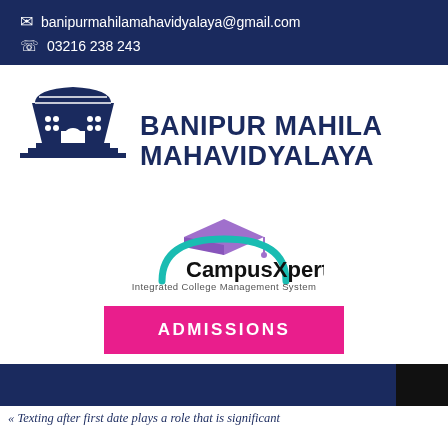✉ banipurmahilamahavidyalaya@gmail.com
☎ 03216 238 243
[Figure (logo): Banipur Mahila Mahavidyalaya building/gate logo in dark navy blue]
BANIPUR MAHILA MAHAVIDYALAYA
[Figure (logo): CampusXpert logo — graduation cap in purple/teal with arc — Integrated College Management System]
ADMISSIONS
« Texting after first date plays a role that is significant